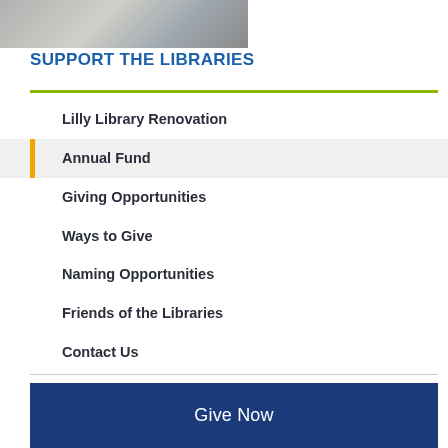[Figure (photo): Partial photo showing laptop and books on a desk, cropped at top]
SUPPORT THE LIBRARIES
Lilly Library Renovation
Annual Fund
Giving Opportunities
Ways to Give
Naming Opportunities
Friends of the Libraries
Contact Us
News, Events, Exhibits
Give Now